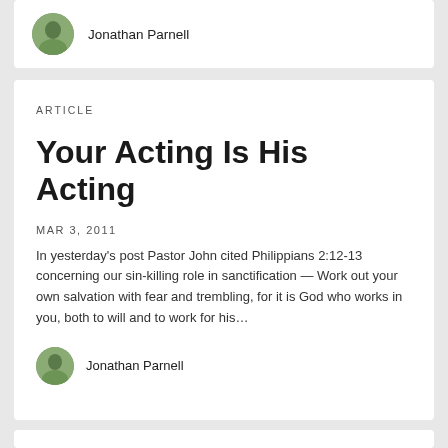[Figure (photo): Small circular avatar photo of Jonathan Parnell]
Jonathan Parnell
ARTICLE
Your Acting Is His Acting
MAR 3, 2011
In yesterday's post Pastor John cited Philippians 2:12-13 concerning our sin-killing role in sanctification — Work out your own salvation with fear and trembling, for it is God who works in you, both to will and to work for his…
[Figure (photo): Small circular avatar photo of Jonathan Parnell]
Jonathan Parnell